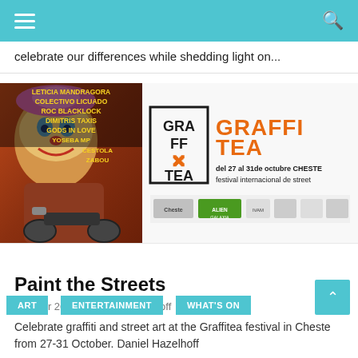Navigation bar with hamburger menu and search icon
celebrate our differences while shedding light on...
[Figure (illustration): Left: colorful festival art poster showing a clown-like figure on a motorcycle with text 'LETICIA MANDRAGORA COLECTIVO LICUADO ROC BLACKLOCK DIMITRIS TAXIS GODS IN LOVE YOSEBA MP CESTOLA ZABOU'. Right: Graffitea festival poster with logo and text 'del 27 al 31de octubre CHESTE festival internacional de street' with sponsor logos including Cheste, Alien Galaxia, IVAM]
ART  ENTERTAINMENT  WHAT'S ON
Paint the Streets
October 26, 2021 / Dani Hazelhoff
Celebrate graffiti and street art at the Graffitea festival in Cheste from 27-31 October. Daniel Hazelhoff